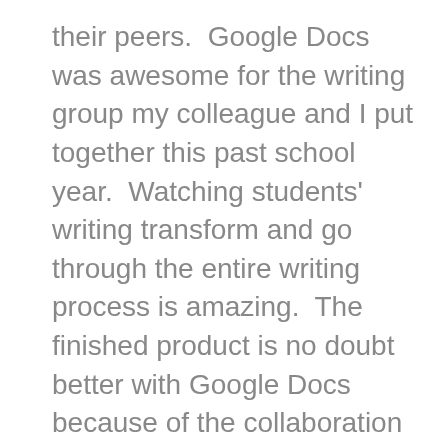their peers.  Google Docs was awesome for the writing group my colleague and I put together this past school year.  Watching students' writing transform and go through the entire writing process is amazing.  The finished product is no doubt better with Google Docs because of the collaboration amongst students.
3. Digital Citizenship – To me this one term brings everything into focus for me. Part of me almost thinks as teachers we all have a duty to discuss